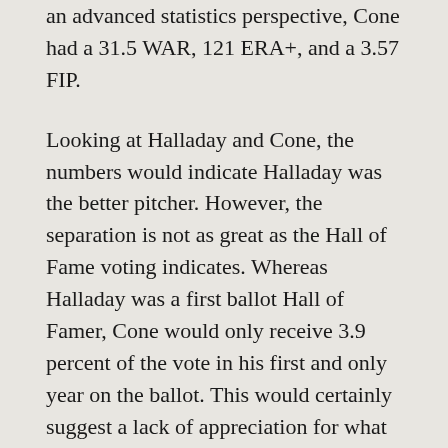an advanced statistics perspective, Cone had a 31.5 WAR, 121 ERA+, and a 3.57 FIP.
Looking at Halladay and Cone, the numbers would indicate Halladay was the better pitcher. However, the separation is not as great as the Hall of Fame voting indicates. Whereas Halladay was a first ballot Hall of Famer, Cone would only receive 3.9 percent of the vote in his first and only year on the ballot. This would certainly suggest a lack of appreciation for what Cone accomplished in his career.
Cone is only one of 21 pitchers to throw a perfect game. He was as big a big game pitcher as there ever was. In the World Series, Cone has a 2-1 record with a 2.12 ERA. When his teams faced elimination, Cone made two starts. The first was a complete game gem against the Dodgers in Game 6 of the 1988 NLCS. The second was against the Mariners where he departed...